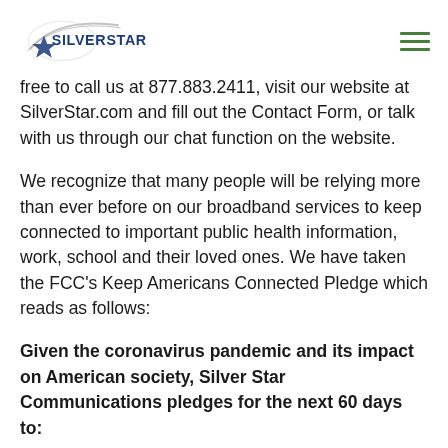[Figure (logo): Silver Star Communications logo with swoosh arc and star icon]
free to call us at 877.883.2411, visit our website at SilverStar.com and fill out the Contact Form, or talk with us through our chat function on the website.
We recognize that many people will be relying more than ever before on our broadband services to keep connected to important public health information, work, school and their loved ones. We have taken the FCC's Keep Americans Connected Pledge which reads as follows:
Given the coronavirus pandemic and its impact on American society, Silver Star Communications pledges for the next 60 days to: